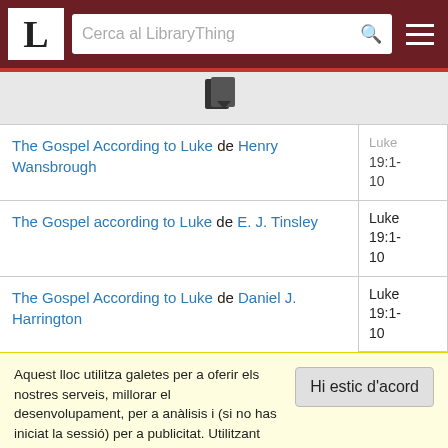LibraryThing — Cerca al LibraryThing
[Figure (screenshot): LibraryThing icon/logo button for importing books]
| Book title | Reference |
| --- | --- |
| The Gospel According to Luke de Henry Wansbrough | Luke 19:1-10 |
| The Gospel according to Luke de E. J. Tinsley | Luke 19:1-10 |
| The Gospel According to Luke de Daniel J. Harrington | Luke 19:1-10 |
Aquest lloc utilitza galetes per a oferir els nostres serveis, millorar el desenvolupament, per a anàlisis i (si no has iniciat la sessió) per a publicitat. Utilitzant LibraryThing acceptes que has llegit i entès els nostres Termes de servei i política de privacitat. L'ús que facis del lloc i dels seus serveis està subjecte a aquestes polítiques i termes.